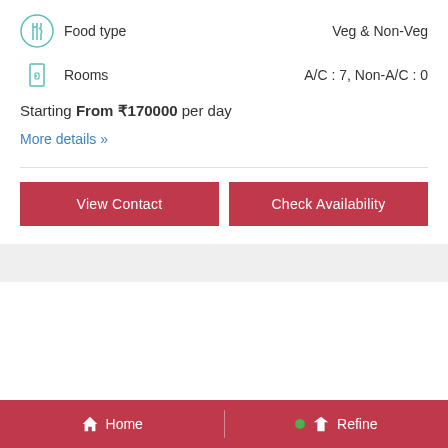Food type — Veg & Non-Veg
Rooms — A/C : 7, Non-A/C : 0
Starting From ₹170000 per day
More details »
View Contact
Check Availability
Home | Refine